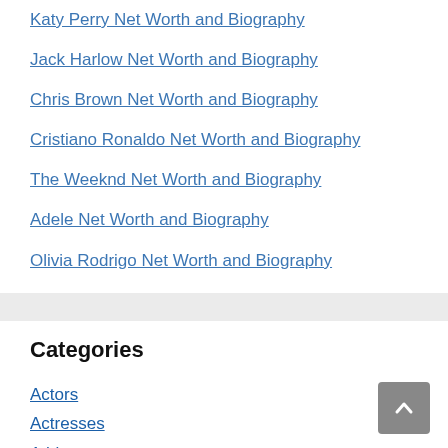Katy Perry Net Worth and Biography
Jack Harlow Net Worth and Biography
Chris Brown Net Worth and Biography
Cristiano Ronaldo Net Worth and Biography
The Weeknd Net Worth and Biography
Adele Net Worth and Biography
Olivia Rodrigo Net Worth and Biography
Categories
Actors
Actresses
Athletes